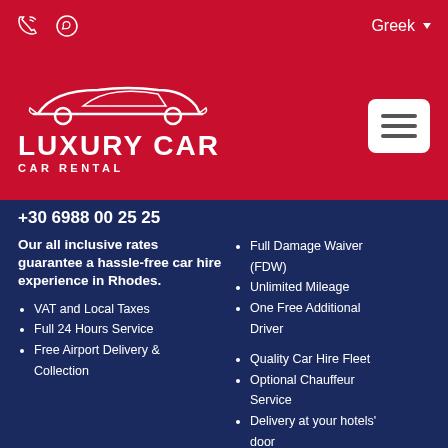Phone icon, WhatsApp icon | Greek (language selector)
[Figure (logo): Luxury Car Car Rental logo — white car silhouette outline above bold white text LUXURY CAR and smaller CAR RENTAL on red background, with hamburger menu button on the right]
+30 6988 00 25 25
Our all inclusive rates guarantee a hassle-free car hire experience in Rhodes.
VAT and Local Taxes
Full 24 Hours Service
Free Airport Delivery & Collection
Full Damage Waiver (FDW)
Unlimited Mileage
One Free Additional Driver
Quality Car Hire Fleet
Optional Chauffeur Service
Delivery at your hotels' door